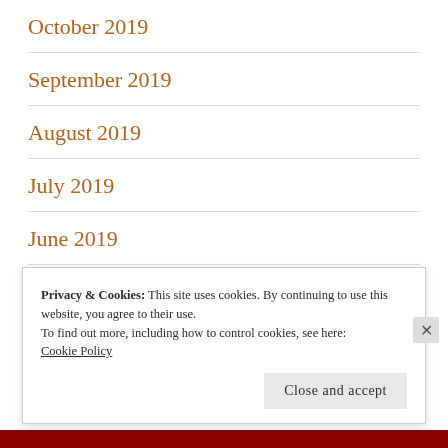October 2019
September 2019
August 2019
July 2019
June 2019
May 2019
Privacy & Cookies: This site uses cookies. By continuing to use this website, you agree to their use.
To find out more, including how to control cookies, see here:
Cookie Policy
Close and accept